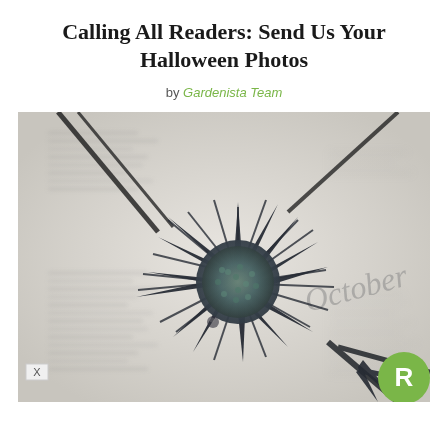Calling All Readers: Send Us Your Halloween Photos
by Gardenista Team
[Figure (photo): A dark spiky thistle-like flower (Eryngium) with deep blue-black spines resting on an open book page showing the word 'October'. The background is softly blurred white book pages. A green circular badge with white letter R appears in the bottom right corner.]